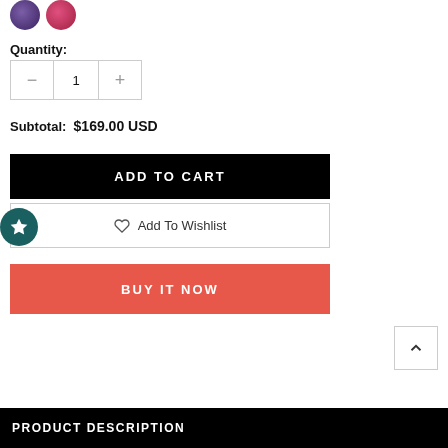[Figure (illustration): Two circular color swatches: one purple-to-dark-purple gradient, one pink-to-red gradient]
Quantity:
1 (quantity selector with minus and plus buttons)
Subtotal:  $169.00 USD
ADD TO CART
Add To Wishlist
BUY IT NOW
PRODUCT DESCRIPTION